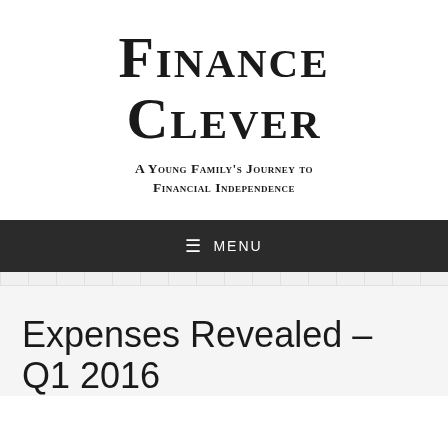Finance Clever
A Young Family's Journey to Financial Independence
≡ Menu
Expenses Revealed – Q1 2016